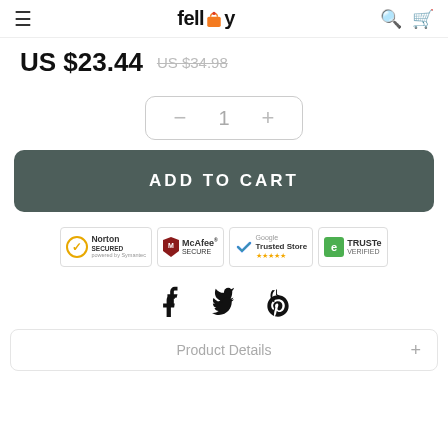felloy
US $23.44  US $34.98
[Figure (other): Quantity selector with minus button, 1, and plus button in a rounded rectangle]
ADD TO CART
[Figure (infographic): Trust badges: Norton Secured, McAfee Secure, Google Trusted Store, TRUSTe Verified]
[Figure (infographic): Social share icons: Facebook, Twitter, Pinterest]
Product Details